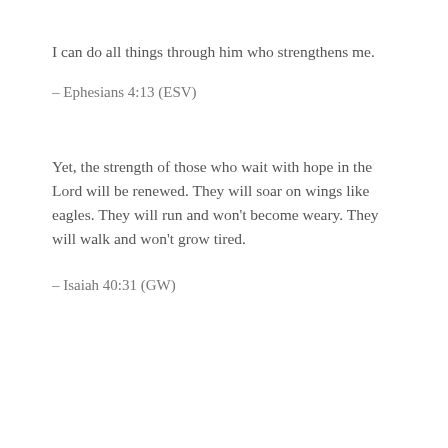I can do all things through him who strengthens me.
– Ephesians 4:13 (ESV)
Yet, the strength of those who wait with hope in the Lord will be renewed. They will soar on wings like eagles. They will run and won't become weary. They will walk and won't grow tired.
– Isaiah 40:31 (GW)